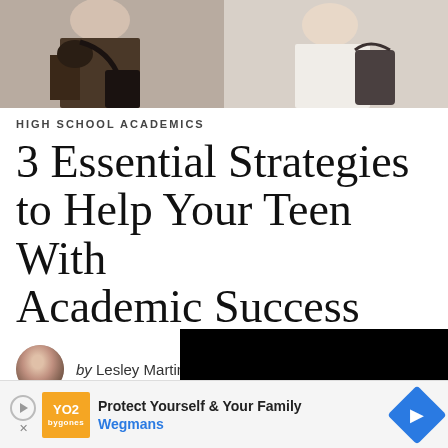[Figure (photo): Top portion of photo showing two people, one in dark clothing with a bag on the left, one in white clothing on the right, cropped at the top of the page]
HIGH SCHOOL ACADEMICS
3 Essential Strategies to Help Your Teen With Academic Success
by Lesley Martin
Students are rested (and eager) to begin classes in the fall. For those transitioning to or college, there's also the excitement and challenge of a new academic landscape. New teachers, classes, and activities to
[Figure (screenshot): Video player overlay showing black background with play button triangle, progress bar, time display 01:33, grid icon, settings gear icon, and fullscreen icon]
[Figure (infographic): Advertisement banner for Wegmans showing orange logo box with YO2 branding, text 'Protect Yourself & Your Family' and 'Wegmans' in blue, with a blue navigation/diamond icon on the right]